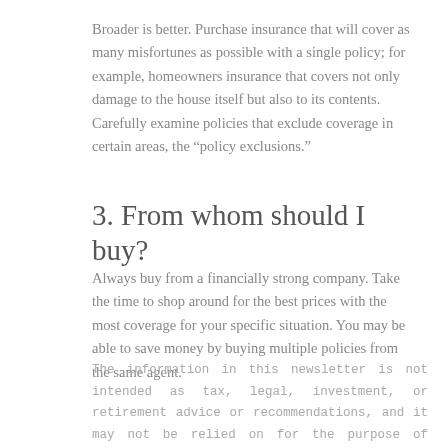Broader is better. Purchase insurance that will cover as many misfortunes as possible with a single policy; for example, homeowners insurance that covers not only damage to the house itself but also to its contents. Carefully examine policies that exclude coverage in certain areas, the “policy exclusions.”
3. From whom should I buy?
Always buy from a financially strong company. Take the time to shop around for the best prices with the most coverage for your specific situation. You may be able to save money by buying multiple policies from the same agent.
The information in this newsletter is not intended as tax, legal, investment, or retirement advice or recommendations, and it may not be relied on for the purpose of avoiding any federal tax penalties. You are encouraged to seek guidance from an